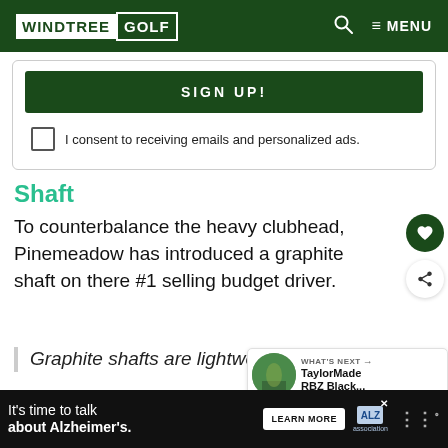WINDTREE GOLF — MENU
[Figure (screenshot): Sign Up button (green) with consent checkbox below reading 'I consent to receiving emails and personalized ads.']
Shaft
To counterbalance the heavy clubhead, Pinemeadow has introduced a graphite shaft on there #1 selling budget driver.
Graphite shafts are lightweight and
[Figure (photo): What's Next thumbnail showing TaylorMade RBZ Black... article preview]
It's time to talk about Alzheimer's. LEARN MORE